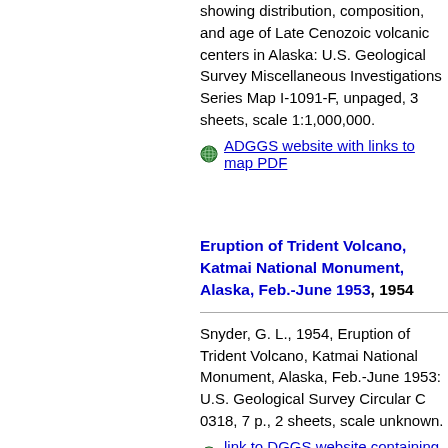showing distribution, composition, and age of Late Cenozoic volcanic centers in Alaska: U.S. Geological Survey Miscellaneous Investigations Series Map I-1091-F, unpaged, 3 sheets, scale 1:1,000,000.
ADGGS website with links to map PDF
Eruption of Trident Volcano, Katmai National Monument, Alaska, Feb.-June 1953, 1954
Snyder, G. L., 1954, Eruption of Trident Volcano, Katmai National Monument, Alaska, Feb.-June 1953: U.S. Geological Survey Circular C 0318, 7 p., 2 sheets, scale unknown.
link to DGGS website containing PDF
Volcanic activity in the Aleutian Arc, 195